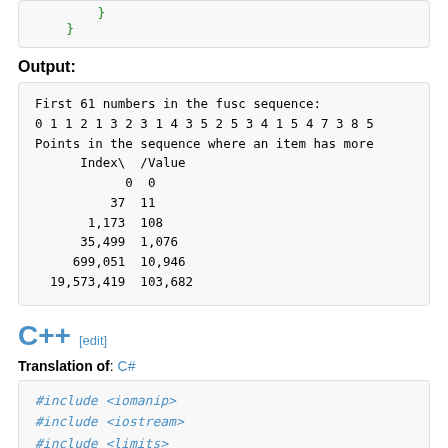}
}
Output:
First 61 numbers in the fusc sequence:
0 1 1 2 1 3 2 3 1 4 3 5 2 5 3 4 1 5 4 7 3 8 5
Points in the sequence where an item has more
    Index\  /Value
            0  0
           37  11
        1,173  108
       35,499  1,076
      699,051  10,946
   19,573,419  103,682
C++ [edit]
Translation of: C#
#include <iomanip>
#include <iostream>
#include <limits>